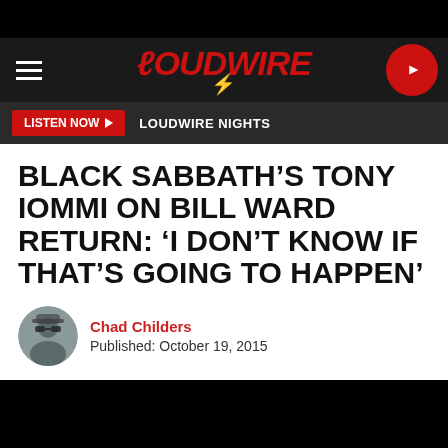LOUDWIRE
LISTEN NOW ▶  LOUDWIRE NIGHTS
BLACK SABBATH'S TONY IOMMI ON BILL WARD RETURN: 'I DON'T KNOW IF THAT'S GOING TO HAPPEN'
Chad Childers
Published: October 19, 2015